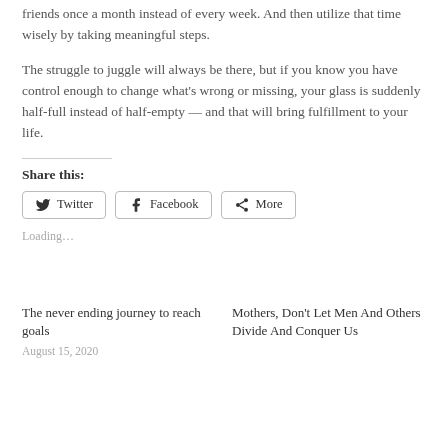friends once a month instead of every week. And then utilize that time wisely by taking meaningful steps.
The struggle to juggle will always be there, but if you know you have control enough to change what’s wrong or missing, your glass is suddenly half-full instead of half-empty — and that will bring fulfillment to your life.
Share this:
Loading…
The never ending journey to reach goals
August 15, 2020
Mothers, Don’t Let Men And Others Divide And Conquer Us